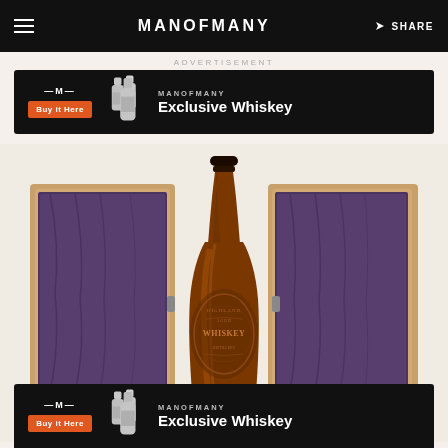MANOFMANY | SHARE
ADVERTISEMENT
[Figure (infographic): Man of Many Exclusive Whiskey advertisement banner with orange Buy it Here button, whiskey bottles, and brand text]
[Figure (photo): An amber glass whiskey bottle with engraved label displayed in front of an open wooden box lined with purple velvet]
[Figure (infographic): Man of Many Exclusive Whiskey advertisement banner (bottom) with orange Buy it Here button, whiskey bottles, and brand text]